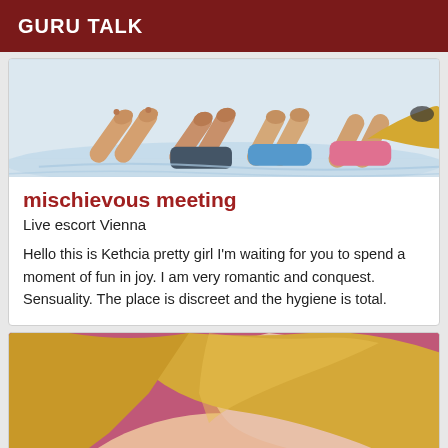GURU TALK
[Figure (illustration): Illustration of people lying on a beach, legs and feet visible, with water around them. Cartoon style.]
mischievous meeting
Live escort Vienna
Hello this is Kethcia pretty girl I'm waiting for you to spend a moment of fun in joy. I am very romantic and conquest. Sensuality. The place is discreet and the hygiene is total.
[Figure (photo): Photo of a blonde woman wearing a pink top, with a pink/mauve background. Close-up shot showing face partially and upper body.]